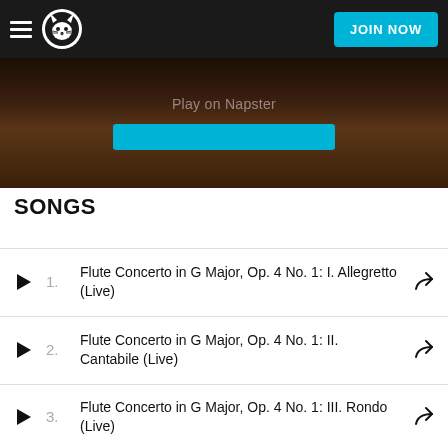Napster — JOIN NOW
[Figure (screenshot): Napster music streaming app header with hamburger menu, Napster cat logo, 'Play on Napster' button area, and 'JOIN NOW' button on dark brown/black background]
SONGS
1. Flute Concerto in G Major, Op. 4 No. 1: I. Allegretto (Live)
2. Flute Concerto in G Major, Op. 4 No. 1: II. Cantabile (Live)
3. Flute Concerto in G Major, Op. 4 No. 1: III. Rondo (Live)